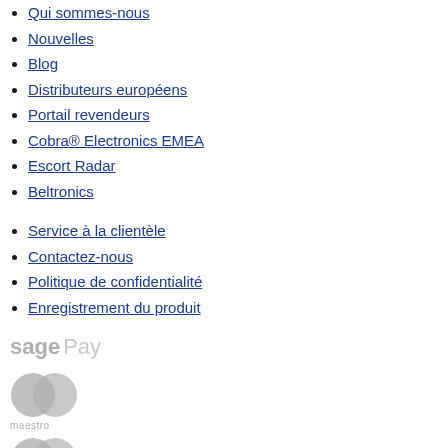Qui sommes-nous
Nouvelles
Blog
Distributeurs européens
Portail revendeurs
Cobra® Electronics EMEA
Escort Radar
Beltronics
Service à la clientèle
Contactez-nous
Politique de confidentialité
Enregistrement du produit
[Figure (logo): Sage Pay payment logo in grey]
[Figure (logo): Maestro card logo in grey with two overlapping circles]
[Figure (logo): Mastercard logo in grey with two overlapping circles]
[Figure (logo): PayPal logo in grey]